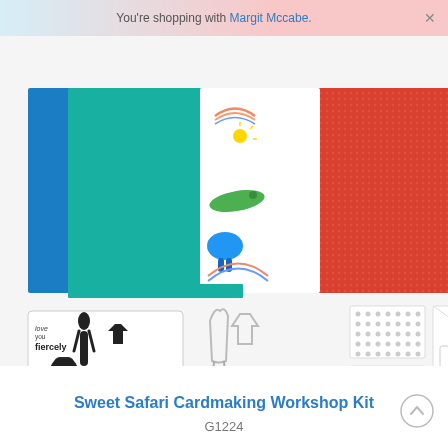You're shopping with Margit Mccabe.
[Figure (photo): Sweet Safari Cardmaking Workshop Kit product image showing colored paper sheets (blue, teal, patterned, red), a stamp set with safari animals (giraffe, monkey, crocodile), metal dies, adhesive dots, and blank white cards and envelopes.]
Sweet Safari Cardmaking Workshop Kit
G1224